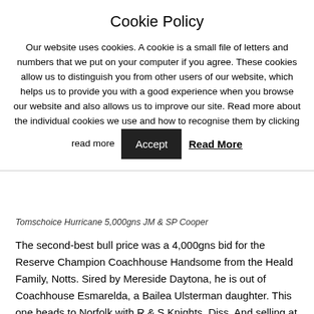Cookie Policy
Our website uses cookies. A cookie is a small file of letters and numbers that we put on your computer if you agree. These cookies allow us to distinguish you from other users of our website, which helps us to provide you with a good experience when you browse our website and also allows us to improve our site. Read more about the individual cookies we use and how to recognise them by clicking read more
Tomschoice Hurricane 5,000gns JM & SP Cooper
The second-best bull price was a 4,000gns bid for the Reserve Champion Coachhouse Handsome from the Heald Family, Notts. Sired by Mereside Daytona, he is out of Coachhouse Esmarelda, a Bailea Ulsterman daughter. This one heads to Norfolk with R & S Knights, Diss. And selling at 3,100gns was the first bull of the day, Dolcorsllwyn Gethin from Glyn Vaughan